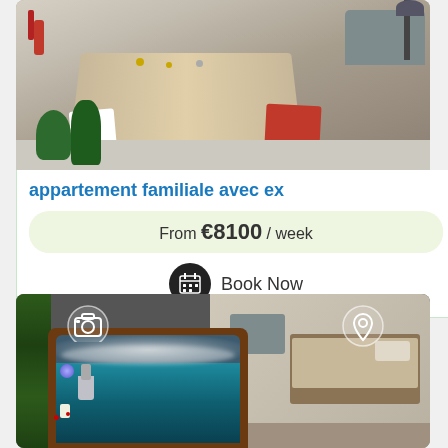[Figure (photo): Outdoor terrace with a large wooden dining table, white chairs, red chair, plants, patio sofa, and an umbrella. Stone-paved ground visible.]
appartement familiale avec ex
From €8100 / week
Book Now
[Figure (photo): Interior/outdoor photo showing a hot tub/jacuzzi in the foreground with bubbling water, a green hedge wall on left, a LED light and candles, and a bedroom with a bed and sofa in the background. Camera icon and location pin icon visible as overlays.]